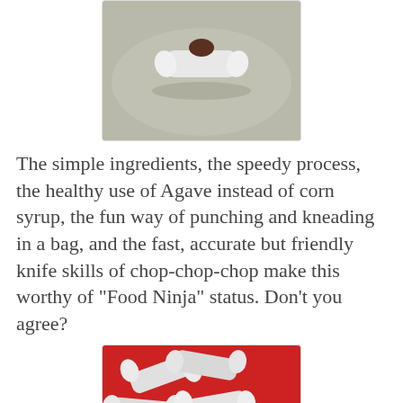[Figure (photo): A single white paper-wrapped candy piece on a gray/silver plate, photographed from above.]
The simple ingredients, the speedy process, the healthy use of Agave instead of corn syrup, the fun way of punching and kneading in a bag, and the fast, accurate but friendly knife skills of chop-chop-chop make this worthy of "Food Ninja" status. Don't you agree?
[Figure (photo): Multiple white paper-wrapped candy pieces piled on a red surface, photographed from above.]